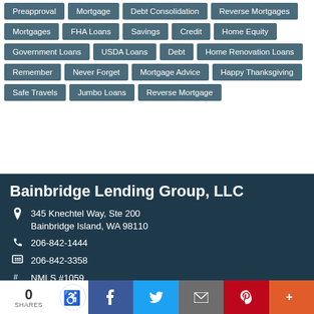Preapproval
Mortgage
Debt Consolidation
Reverse Mortgages
Mortgages
FHA Loans
Savings
Credit
Home Equity
Government Loans
USDA Loans
Debt
Home Renovation Loans
Remember
Never Forget
Mortgage Advice
Happy Thanksgiving
Safe Travels
Jumbo Loans
Reverse Mortgage
Bainbridge Lending Group, LLC
345 Knechtel Way, Ste 200
Bainbridge Island, WA 98110
206-842-1444
206-842-3358
NMLS #1059